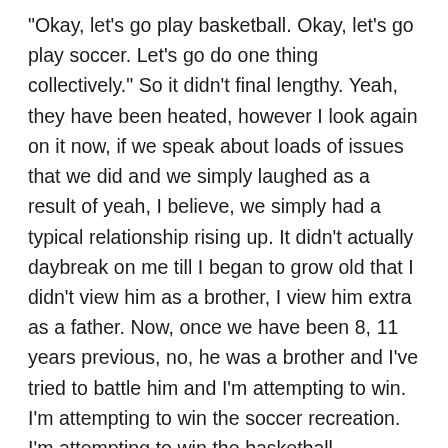“Okay, let’s go play basketball. Okay, let’s go play soccer. Let’s go do one thing collectively.” So it didn’t final lengthy. Yeah, they have been heated, however I look again on it now, if we speak about loads of issues that we did and we simply laughed as a result of yeah, I believe, we simply had a typical relationship rising up. It didn’t actually daybreak on me till I began to grow old that I didn’t view him as a brother, I view him extra as a father. Now, once we have been 8, 11 years previous, no, he was a brother and I’ve tried to battle him and I’m attempting to win. I’m attempting to win the soccer recreation. I’m attempting to win the basketball recreation or no matter, we competing. I used to be attempting to win. However as I began to grow old, I began getting 17, 18, 19. I used to be in my 20s and I used to be like, “There’s one thing distinctive about this relationship.” I don’t view him as a brother.